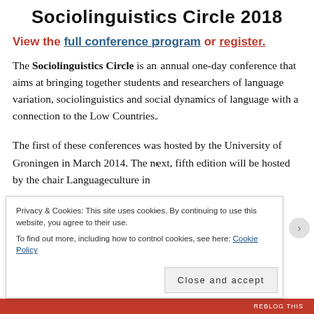Sociolinguistics Circle 2018
View the full conference program or register.
The Sociolinguistics Circle is an annual one-day conference that aims at bringing together students and researchers of language variation, sociolinguistics and social dynamics of language with a connection to the Low Countries.
The first of these conferences was hosted by the University of Groningen in March 2014. The next, fifth edition will be hosted by the chair Languageculture in
Privacy & Cookies: This site uses cookies. By continuing to use this website, you agree to their use. To find out more, including how to control cookies, see here: Cookie Policy
Close and accept